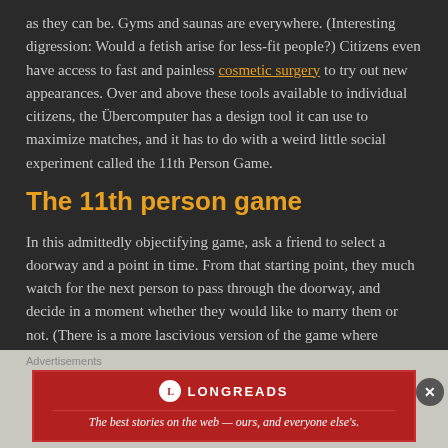as they can be. Gyms and saunas are everywhere. (Interesting digression: Would a fetish arise for less-fit people?) Citizens even have access to fast and painless cosmetic surgery to try out new appearances. Over and above these tools available to individual citizens, the Übercomputer has a design tool it can use to maximize matches, and it has to do with a weird little social experiment called the 11th Person Game.
The 11th person game
In this admittedly objectifying game, ask a friend to select a doorway and a point in time. From that starting point, they much watch for the next person to pass through the doorway, and decide in a moment whether they would like to marry them or not. (There is a more lascivious version of the game where marriage is not the decision, but I'll let your imagination fill in that blank.)
When playing, you can't undo a decision. If you decide yes, you can't
Advertisements
[Figure (logo): Longreads advertisement banner: red background with Longreads logo and tagline 'The best stories on the web — ours, and everyone else's.']